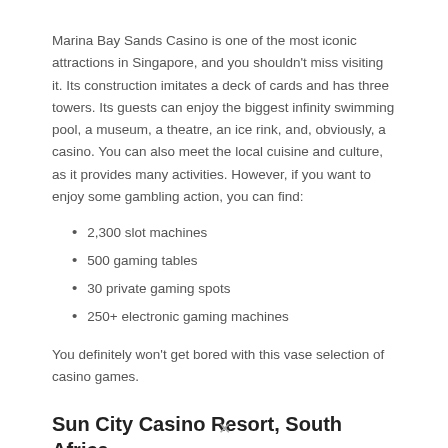Marina Bay Sands Casino is one of the most iconic attractions in Singapore, and you shouldn't miss visiting it. Its construction imitates a deck of cards and has three towers. Its guests can enjoy the biggest infinity swimming pool, a museum, a theatre, an ice rink, and, obviously, a casino. You can also meet the local cuisine and culture, as it provides many activities. However, if you want to enjoy some gambling action, you can find:
2,300 slot machines
500 gaming tables
30 private gaming spots
250+ electronic gaming machines
You definitely won't get bored with this vase selection of casino games.
Sun City Casino Resort, South Africa